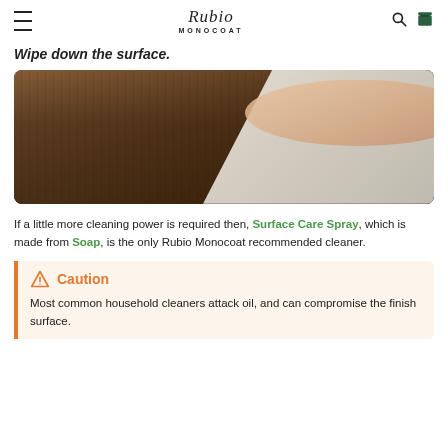Rubio Monocoat
Wipe down the surface.
[Figure (photo): Close-up of a hand using a white cloth to wipe down a dark wood surface]
If a little more cleaning power is required then, Surface Care Spray, which is made from Soap, is the only Rubio Monocoat recommended cleaner.
Caution
Most common household cleaners attack oil, and can compromise the finish surface.